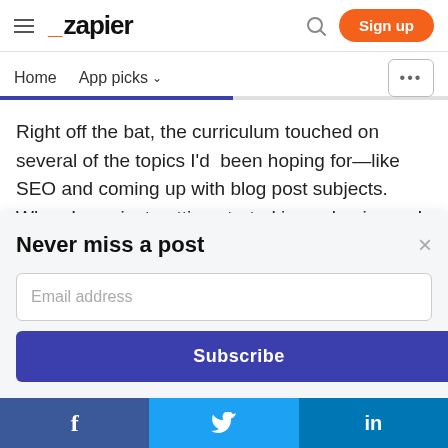Zapier — Sign up
Home  App picks
Right off the bat, the curriculum touched on several of the topics I'd been hoping for—like SEO and coming up with blog post subjects. When I was just getting started in my business, I needed to come up with a
Never miss a post
Email address
Subscribe
f  (Twitter bird)  in